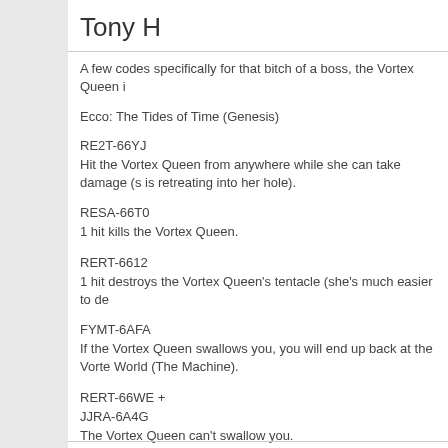Tony H
A few codes specifically for that bitch of a boss, the Vortex Queen i
Ecco: The Tides of Time (Genesis)
RE2T-66YJ
Hit the Vortex Queen from anywhere while she can take damage (s is retreating into her hole).
RESA-66T0
1 hit kills the Vortex Queen.
RERT-6612
1 hit destroys the Vortex Queen's tentacle (she's much easier to de
FYMT-6AFA
If the Vortex Queen swallows you, you will end up back at the Vorte World (The Machine).
RERT-66WE +
JJRA-6A4G
The Vortex Queen can't swallow you.
AAPA-6A6C
Disables laser beam in the Vortex Queen level.